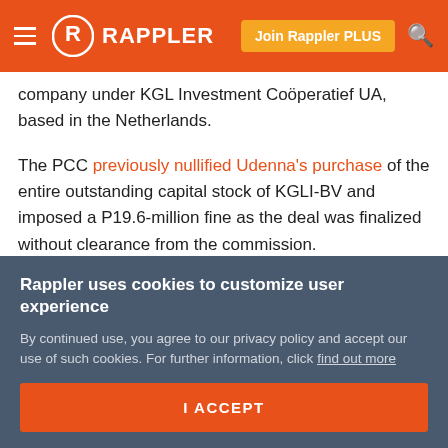Rappler — Join Rappler PLUS
company under KGL Investment Coöperatief UA, based in the Netherlands.
The PCC previously nullified Udenna's purchase of the entire outstanding capital stock of KGLI-BV and imposed a P19.6-million fine as the deal was finalized without clearance from the commission.
Back in August 2016, Udenna bought all of KGL Investment Coöperatief UA's shares in KGLI-BV, which in
Rappler uses cookies to customize user experience
By continued use, you agree to our privacy policy and accept our use of such cookies. For further information, click find out more
I ACCEPT